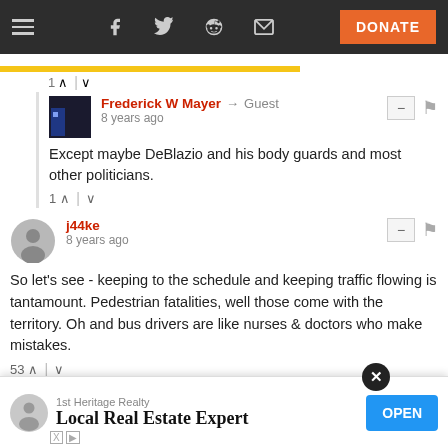Navigation bar with hamburger menu, social icons (Facebook, Twitter, Reddit, Email), and DONATE button
Frederick W Mayer → Guest
8 years ago
Except maybe DeBlazio and his body guards and most other politicians.
1 ↑ | ↓
j44ke
8 years ago
So let's see - keeping to the schedule and keeping traffic flowing is tantamount. Pedestrian fatalities, well those come with the territory. Oh and bus drivers are like nurses & doctors who make mistakes.
53 ↑ | ↓
This comment was deleted
[Figure (infographic): Advertisement banner: 1st Heritage Realty - Local Real Estate Expert - OPEN button]